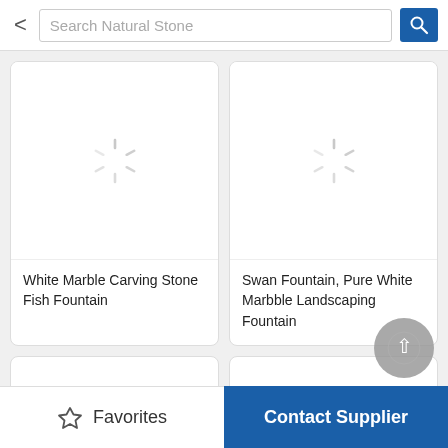[Figure (screenshot): Mobile app search bar with back arrow, 'Search Natural Stone' placeholder text, and blue search button]
[Figure (photo): Product card with loading spinner for 'White Marble Carving Stone Fish Fountain']
White Marble Carving Stone Fish Fountain
[Figure (photo): Product card with loading spinner for 'Swan Fountain, Pure White Marbble Landscaping Fountain']
Swan Fountain, Pure White Marbble Landscaping Fountain
[Figure (screenshot): Scroll to top circular button]
[Figure (screenshot): Two partial product cards at bottom]
Favorites
Contact Supplier